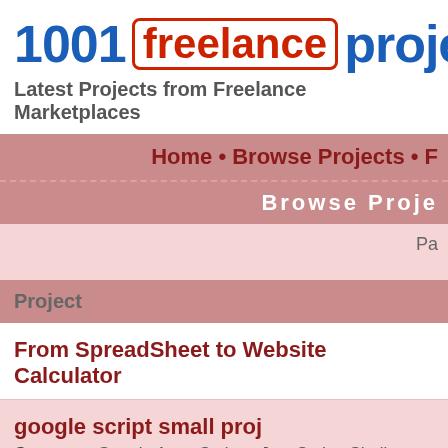[Figure (logo): 1001 freelance projects logo with red outlined 'freelance' box and blue text]
Latest Projects from Freelance Marketplaces
Home • Browse Projects • F
Browse Proje
Pa
| Project |
| --- |
| From SpreadSheet to Website Calculator |
| google script small proj
Category: Google Apps Scripts, JavaScript, Shell Script
Budget: $10 - $30 USD |
| Crash game for Solana |
From SpreadSheet to Website Calculator
google script small proj
Category: Google Apps Scripts, JavaScript, Shell Script
Budget: $10 - $30 USD
Crash game for Solana